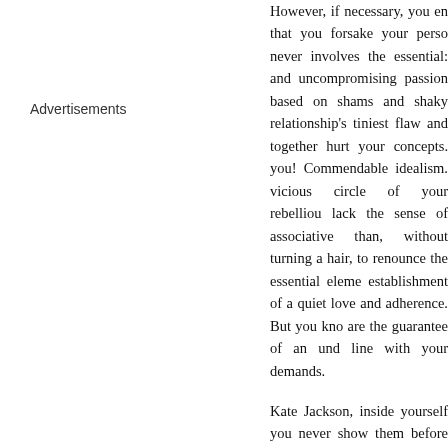Advertisements
However, if necessary, you en that you forsake your perso never involves the essential: and uncompromising passion based on shams and shaky relationship's tiniest flaw and together hurt your concepts. you! Commendable idealism. vicious circle of your rebelliou lack the sense of associative than, without turning a hair, to renounce the essential eleme establishment of a quiet love and adherence. But you kno are the guarantee of an und line with your demands.
Kate Jackson, inside yourself you never show them before consequences of your w